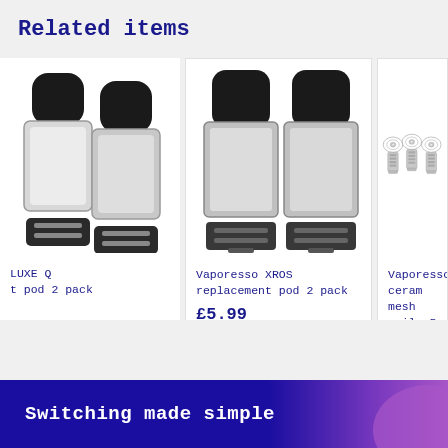Related items
[Figure (photo): LUXE Q replacement pod 2 pack product image showing two black and clear vape pods]
LUXE Q
t pod 2 pack
[Figure (photo): Vaporesso XROS replacement pod 2 pack product image showing two black and clear vape pods]
Vaporesso XROS replacement pod 2 pack
£5.99
[Figure (photo): Vaporesso ceramic mesh coils 5 pack product image showing three coil components]
Vaporesso ceram mesh coils 5 pa
£8.99
Switching made simple